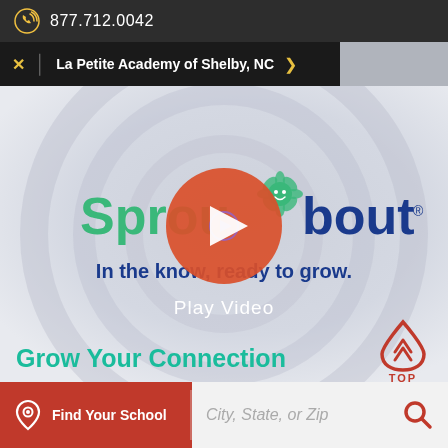877.712.0042
La Petite Academy of Shelby, NC
[Figure (screenshot): Sproutabout logo with tagline 'In the know, ready to grow.' overlaid with a red play button circle and 'Play Video' text, on a light blue-grey background with concentric circle design]
Grow Your Connection
Find Your School
City, State, or Zip